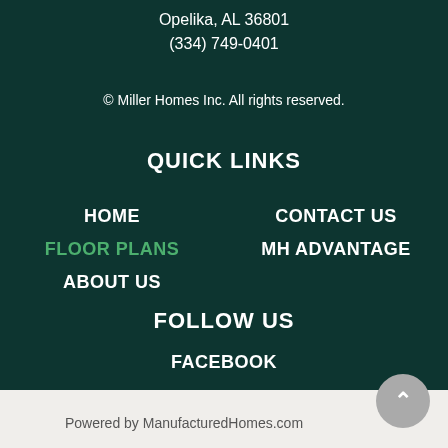Opelika, AL 36801
(334) 749-0401
© Miller Homes Inc. All rights reserved.
QUICK LINKS
HOME
CONTACT US
FLOOR PLANS
MH ADVANTAGE
ABOUT US
FOLLOW US
FACEBOOK
Powered by ManufacturedHomes.com